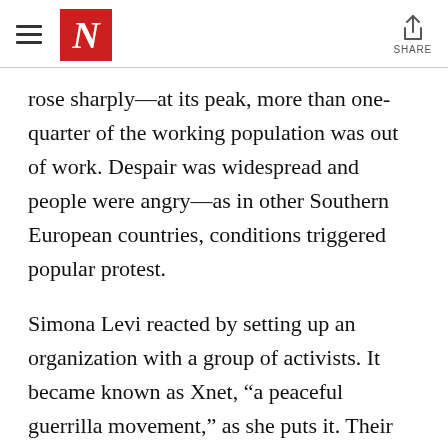N | SHARE
rose sharply—at its peak, more than one-quarter of the working population was out of work. Despair was widespread and people were angry—as in other Southern European countries, conditions triggered popular protest.
Simona Levi reacted by setting up an organization with a group of activists. It became known as Xnet, “a peaceful guerrilla movement,” as she puts it. Their manifesto, Democracy, period, calls for greater institutional transparency; “wikilegislation,”